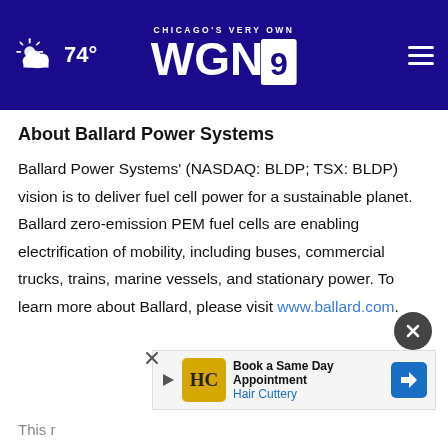CHICAGO'S VERY OWN WGN9 — 74°
About Ballard Power Systems
Ballard Power Systems' (NASDAQ: BLDP; TSX: BLDP) vision is to deliver fuel cell power for a sustainable planet. Ballard zero-emission PEM fuel cells are enabling electrification of mobility, including buses, commercial trucks, trains, marine vessels, and stationary power. To learn more about Ballard, please visit www.ballard.com.
This r...
[Figure (screenshot): Hair Cuttery advertisement banner: 'Book a Same Day Appointment — Hair Cuttery' with HC logo and blue directional arrow icon]